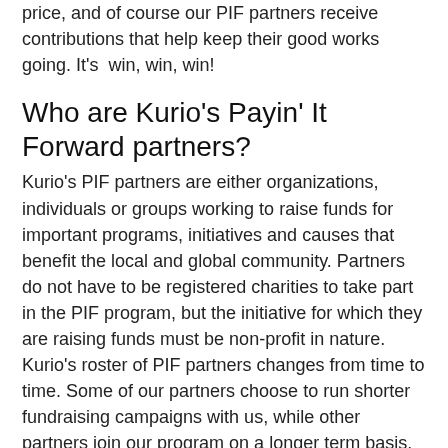price, and of course our PIF partners receive contributions that help keep their good works going. It's  win, win, win!
Who are Kurio's Payin' It Forward partners?
Kurio's PIF partners are either organizations, individuals or groups working to raise funds for important programs, initiatives and causes that benefit the local and global community. Partners do not have to be registered charities to take part in the PIF program, but the initiative for which they are raising funds must be non-profit in nature. Kurio's roster of PIF partners changes from time to time. Some of our partners choose to run shorter fundraising campaigns with us, while other partners join our program on a longer term basis. We do limit the number of partners we work with at any given time. While